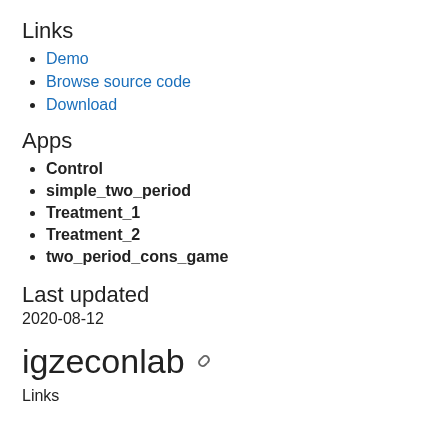Links
Demo
Browse source code
Download
Apps
Control
simple_two_period
Treatment_1
Treatment_2
two_period_cons_game
Last updated
2020-08-12
igzeconlab 🔗
Links